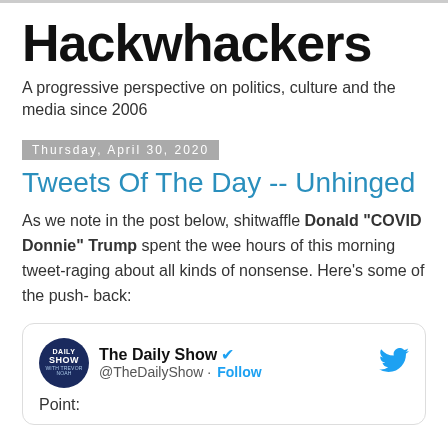Hackwhackers
A progressive perspective on politics, culture and the media since 2006
Thursday, April 30, 2020
Tweets Of The Day -- Unhinged
As we note in the post below, shitwaffle Donald "COVID Donnie" Trump spent the wee hours of this morning tweet-raging about all kinds of nonsense.  Here's some of the push- back:
[Figure (screenshot): Tweet from The Daily Show (@TheDailyShow) with Follow button and Twitter bird icon. Text reads: Point:]